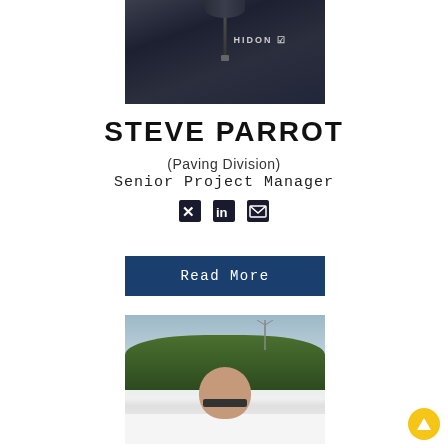[Figure (photo): Photo of Steve Parrot from chest up, wearing a dark navy HIDON zip-up jacket]
STEVE PARROT
(Paving Division)
Senior Project Manager
[Figure (infographic): Social media icons: Twitter, LinkedIn, Email]
Read More
[Figure (photo): Photo of a bald man with glasses standing in front of a white vehicle, trees and wind turbine visible in background under overcast sky]